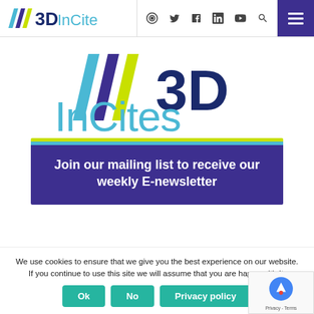3D InCites — navigation header with logo, social icons, and menu
[Figure (logo): 3DInCites large logo with diagonal stripe graphic in blue, purple, and green, followed by '3D' in dark blue and 'InCites' in light blue]
[Figure (infographic): Dark blue banner with colored stripes at top (green and light blue) and white bold text: 'Join our mailing list to receive our weekly E-newsletter']
We use cookies to ensure that we give you the best experience on our website. If you continue to use this site we will assume that you are happy with it.
Ok | No | Privacy policy